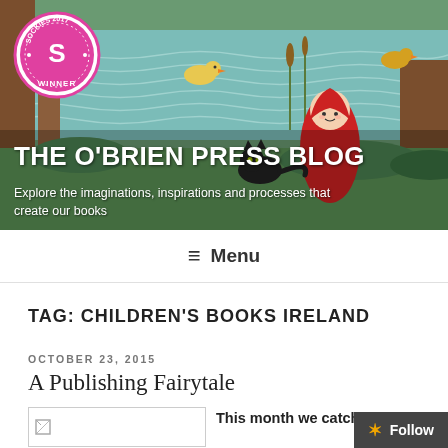[Figure (illustration): Illustrated header banner showing a forest scene with a girl in a red hood, a black cat, trees, water with wavy lines, and ducks. Includes a pink circular Sockies 2017 Winner badge in the top left.]
THE O'BRIEN PRESS BLOG
Explore the imaginations, inspirations and processes that create our books
≡ Menu
TAG: CHILDREN'S BOOKS IRELAND
OCTOBER 23, 2015
A Publishing Fairytale
This month we catch u…